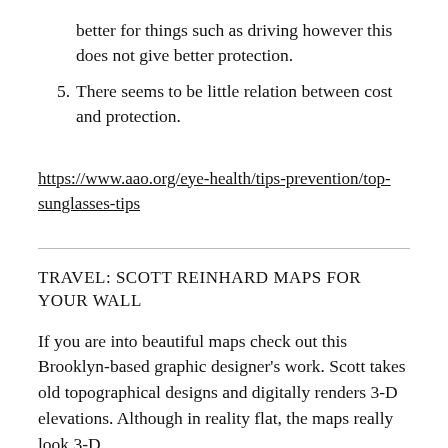better for things such as driving however this does not give better protection.
5. There seems to be little relation between cost and protection.
https://www.aao.org/eye-health/tips-prevention/top-sunglasses-tips
TRAVEL: SCOTT REINHARD MAPS FOR YOUR WALL
If you are into beautiful maps check out this Brooklyn-based graphic designer's work. Scott takes old topographical designs and digitally renders 3-D elevations. Although in reality flat, the maps really look 3-D.